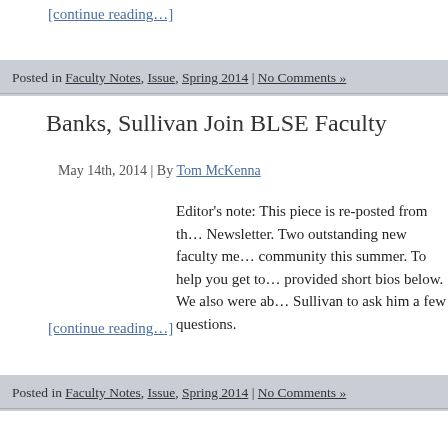[continue reading…]
Posted in Faculty Notes, Issue, Spring 2014 | No Comments »
Banks, Sullivan Join BLSE Faculty
May 14th, 2014 | By Tom McKenna
Editor's note: This piece is re-posted from the Newsletter. Two outstanding new faculty me… community this summer. To help you get to… provided short bios below. We also were ab… Sullivan to ask him a few questions.
[continue reading…]
Posted in Faculty Notes, Issue, Spring 2014 | No Comments »